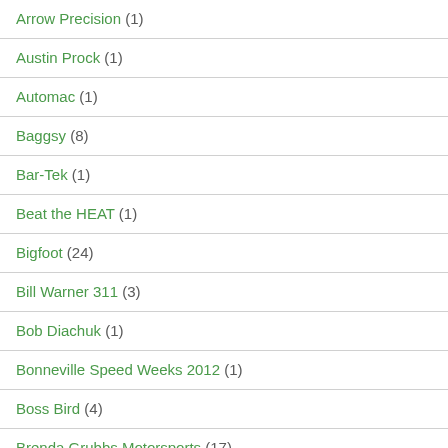Arrow Precision (1)
Austin Prock (1)
Automac (1)
Baggsy (8)
Bar-Tek (1)
Beat the HEAT (1)
Bigfoot (24)
Bill Warner 311 (3)
Bob Diachuk (1)
Bonneville Speed Weeks 2012 (1)
Boss Bird (4)
Brenda Grubbs Motorsports (17)
Brian Deegan (1)